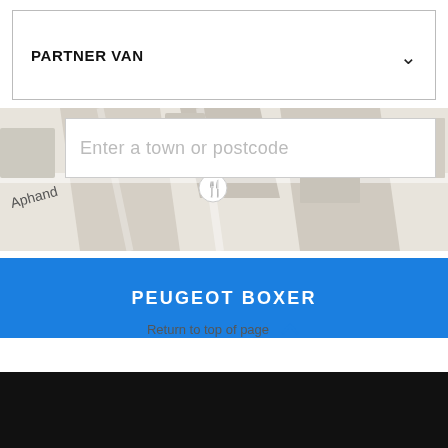PARTNER VAN
[Figure (screenshot): Map background with street labels including 'Aphand' and 'Aver', and a restaurant/fork-knife pin marker]
Enter a town or postcode
PEUGEOT BOXER
Return to top of page
[Figure (other): Black footer area]